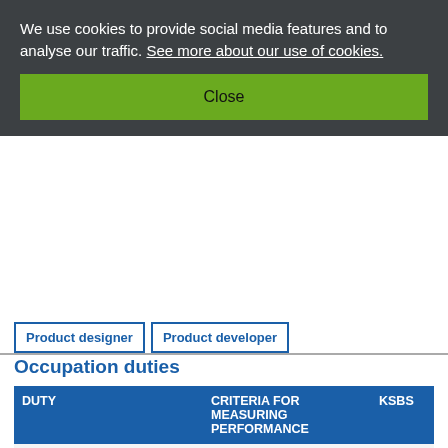We use cookies to provide social media features and to analyse our traffic. See more about our use of cookies.
Close
Product designer
Product developer
Occupation duties
| DUTY | CRITERIA FOR MEASURING PERFORMANCE | KSBS |
| --- | --- | --- |
| Duty 1 work safely at all times following relevant legislation and regulations and ensuring the safety of self and others | complying with relevant health and safety requirements and legislation | K1
S1
B1 |